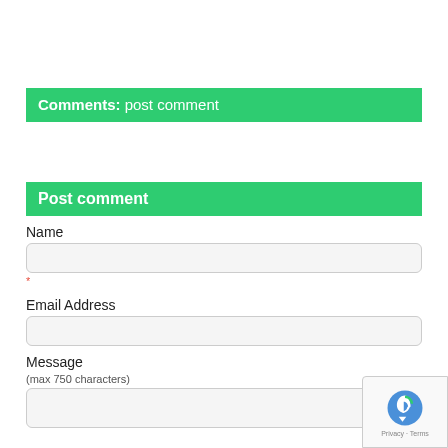Comments: post comment
Post comment
Name
*
Email Address
Message
(max 750 characters)